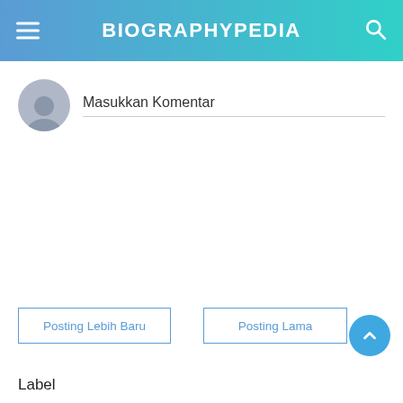BIOGRAPHYPEDIA
Masukkan Komentar
Posting Lebih Baru
Posting Lama
Label